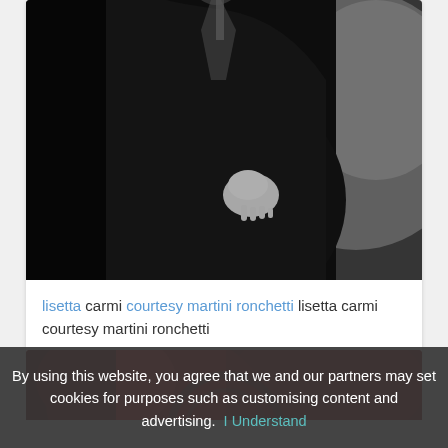[Figure (photo): Black and white photograph of a man in a dark coat, shown from chest up, with one hand visible. The background appears to be a textured wall.]
lisetta carmi courtesy martini ronchetti lisetta carmi courtesy martini ronchetti
[Figure (photo): Partial view of a second image with red and dark tones, partially obscured by a cookie consent banner.]
By using this website, you agree that we and our partners may set cookies for purposes such as customising content and advertising. I Understand